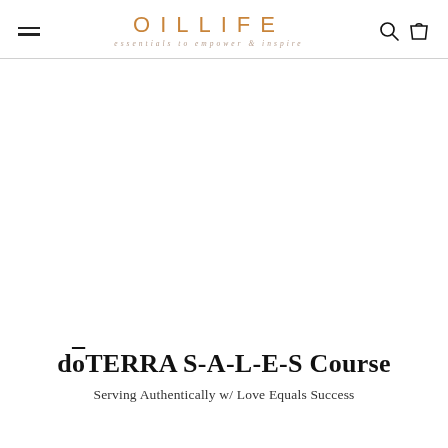OILLIFE essentials to empower & inspire
dōTERRA S-A-L-E-S Course
Serving Authentically w/ Love Equals Success